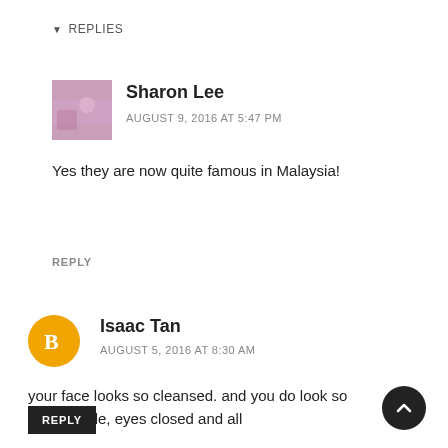▼ REPLIES
Sharon Lee
AUGUST 9, 2016 AT 5:47 PM
[Figure (photo): Avatar photo of Sharon Lee - pink/purple toned room image]
Yes they are now quite famous in Malaysia!
REPLY
[Figure (logo): Blogger orange circle icon with B logo for Isaac Tan]
Isaac Tan
AUGUST 5, 2016 AT 8:30 AM
your face looks so cleansed. and you do look so comfortable, eyes closed and all
REPLY